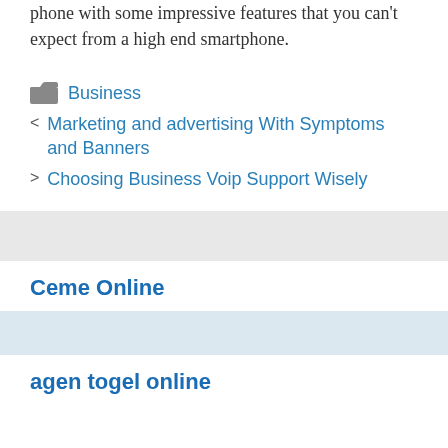phone with some impressive features that you can't expect from a high end smartphone.
Business
Marketing and advertising With Symptoms and Banners
Choosing Business Voip Support Wisely
Ceme Online
agen togel online